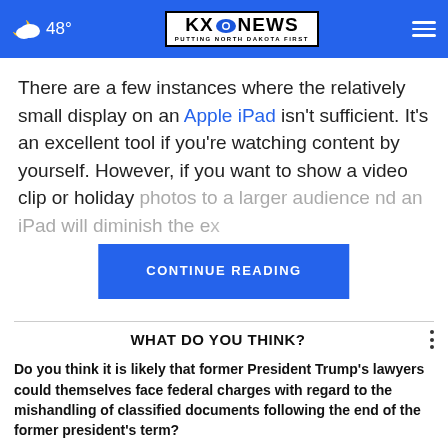☁ 48° | KXO NEWS — PUTTING NORTH DAKOTA FIRST
There are a few instances where the relatively small display on an Apple iPad isn't sufficient. It's an excellent tool if you're watching content by yourself. However, if you want to show a video clip or holiday photos to a larger audience and an iPad will diminish the experience.
CONTINUE READING
WHAT DO YOU THINK?
Do you think it is likely that former President Trump's lawyers could themselves face federal charges with regard to the mishandling of classified documents following the end of the former president's term?